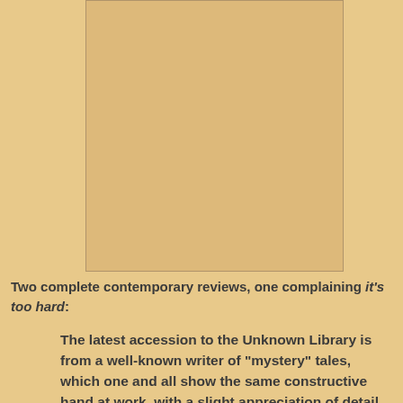[Figure (illustration): A blank or mostly empty rectangular image placeholder with a light tan/beige fill and thin border, centered in the upper portion of the page.]
Two complete contemporary reviews, one complaining it's too hard:
The latest accession to the Unknown Library is from a well-known writer of "mystery" tales, which one and all show the same constructive hand at work, with a slight appreciation of detail in the evolution of plot and